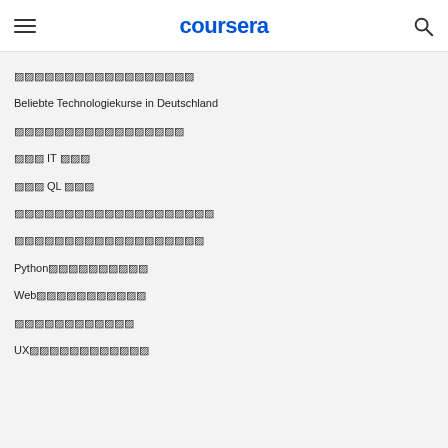coursera
〓〓〓〓〓〓〓〓〓〓〓〓〓〓〓〓〓〓
Beliebte Technologiekurse in Deutschland
〓〓〓〓〓〓〓〓〓〓〓〓〓〓〓〓〓
〓〓〓 IT 〓〓〓
〓〓〓 QL 〓〓〓
〓〓〓〓〓〓〓〓〓〓〓〓〓〓〓〓〓〓〓〓
〓〓〓〓〓〓〓〓〓〓〓〓〓〓〓〓〓〓〓
Python〓〓〓〓〓〓〓〓〓〓
Web〓〓〓〓〓〓〓〓〓〓〓
〓〓〓〓〓〓〓〓〓〓〓〓
UX〓〓〓〓〓〓〓〓〓〓〓〓